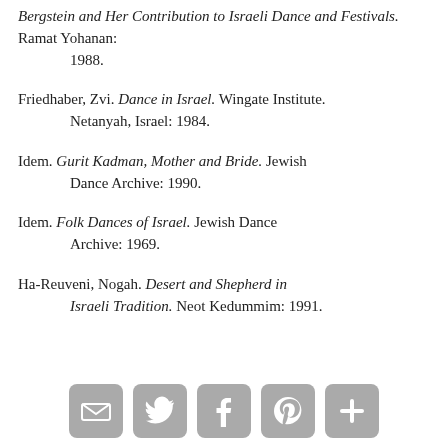Bergstein and Her Contribution to Israeli Dance and Festivals. Ramat Yohanan: 1988.
Friedhaber, Zvi. Dance in Israel. Wingate Institute. Netanyah, Israel: 1984.
Idem. Gurit Kadman, Mother and Bride. Jewish Dance Archive: 1990.
Idem. Folk Dances of Israel. Jewish Dance Archive: 1969.
Ha-Reuveni, Nogah. Desert and Shepherd in Israeli Tradition. Neot Kedummim: 1991.
[Figure (infographic): Social sharing icons: email, Twitter, Facebook, Pinterest, and a plus/more button, rendered as gray rounded square buttons.]